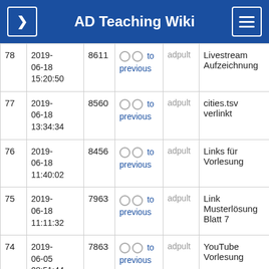AD Teaching Wiki
| # | Date | ID | Links | User | Description |
| --- | --- | --- | --- | --- | --- |
| 78 | 2019-06-18 15:20:50 | 8611 | ○ ○ to previous | adpult | Livestream Aufzeichnung |
| 77 | 2019-06-18 13:34:34 | 8560 | ○ ○ to previous | adpult | cities.tsv verlinkt |
| 76 | 2019-06-18 11:40:02 | 8456 | ○ ○ to previous | adpult | Links für Vorlesung |
| 75 | 2019-06-18 11:11:32 | 7963 | ○ ○ to previous | adpult | Link Musterlösung Blatt 7 |
| 74 | 2019-06-05 08:51:44 | 7863 | ○ ○ to previous | adpult | YouTube Vorlesung |